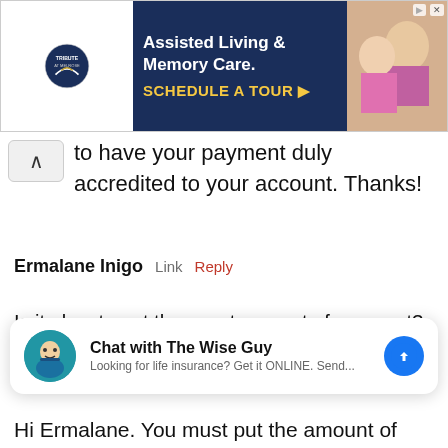[Figure (infographic): Tribute at Melrose advertisement banner: Assisted Living & Memory Care. SCHEDULE A TOUR.]
to have your payment duly accredited to your account. Thanks!
Ermalane Inigo  Link  Reply
Is it okay to put the exact amount of payment? (ex.3900) instead of putting the word PREMIUM? Thank you!
[Figure (infographic): Chat widget: Chat with The Wise Guy. Looking for life insurance? Get it ONLINE. Send...]
Hi Ermalane. You must put the amount of